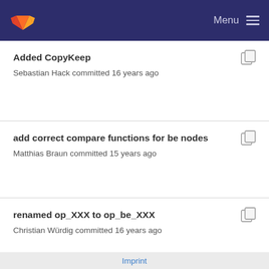Menu
Added CopyKeep
Sebastian Hack committed 16 years ago
add correct compare functions for be nodes
Matthias Braun committed 15 years ago
renamed op_XXX to op_be_XXX
Christian Würdig committed 16 years ago
Imprint